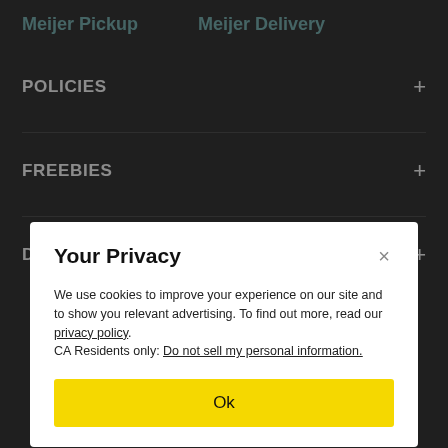Meijer Pickup   Meijer Delivery
POLICIES
FREEBIES
DINING
Your Privacy
We use cookies to improve your experience on our site and to show you relevant advertising. To find out more, read our privacy policy.
CA Residents only: Do not sell my personal information.
Ok